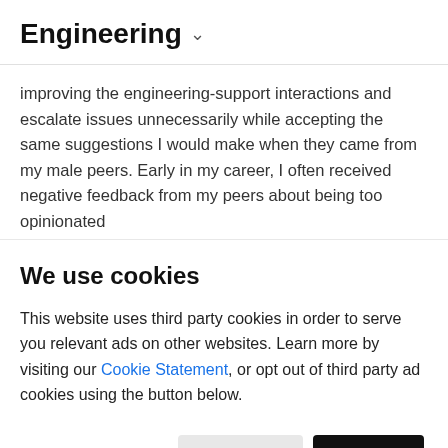Engineering ˅
improving the engineering-support interactions and escalate issues unnecessarily while accepting the same suggestions I would make when they came from my male peers. Early in my career, I often received negative feedback from my peers about being too opinionated
We use cookies
This website uses third party cookies in order to serve you relevant ads on other websites. Learn more by visiting our Cookie Statement, or opt out of third party ad cookies using the button below.
Opt-Out
Opt-In